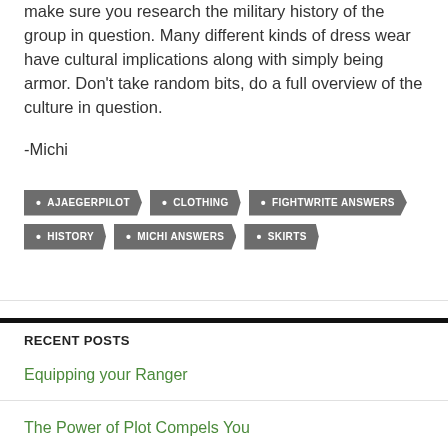make sure you research the military history of the group in question. Many different kinds of dress wear have cultural implications along with simply being armor. Don't take random bits, do a full overview of the culture in question.
-Michi
AJAEGERPILOT
CLOTHING
FIGHTWRITE ANSWERS
HISTORY
MICHI ANSWERS
SKIRTS
RECENT POSTS
Equipping your Ranger
The Power of Plot Compels You